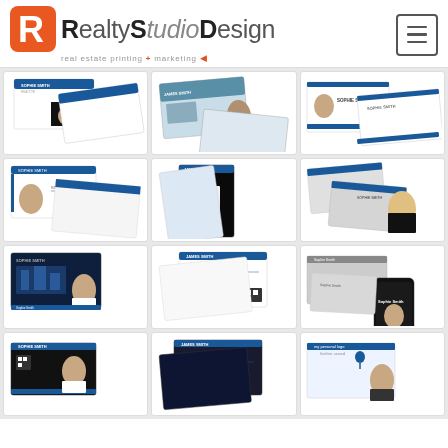[Figure (logo): RealtyStudioDesign logo with orange R icon and tagline 'real estate printing + marketing']
[Figure (screenshot): Grid of 12 real estate business card design mockups showing various layouts with agent photos, blue/black color schemes, and the Century 21 or similar real estate branding]